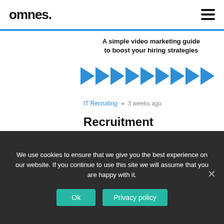omnes.
[Figure (screenshot): Partial view of a blog post card showing a video marketing article with blue play button arrows and article title 'A simple video marketing guide to boost your hiring strategies']
IT Recruiting • 3 weeks ago
Recruitment videos: A simple
We use cookies to ensure that we give you the best experience on our website. If you continue to use this site we will assume that you are happy with it.